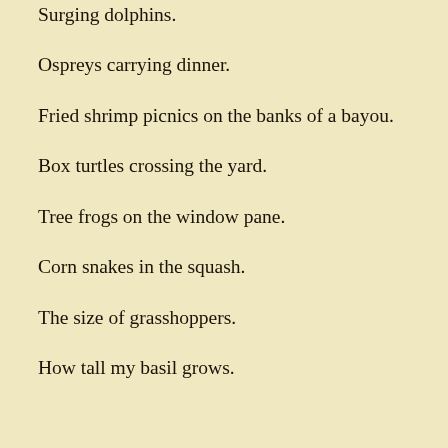Surging dolphins.
Ospreys carrying dinner.
Fried shrimp picnics on the banks of a bayou.
Box turtles crossing the yard.
Tree frogs on the window pane.
Corn snakes in the squash.
The size of grasshoppers.
How tall my basil grows.